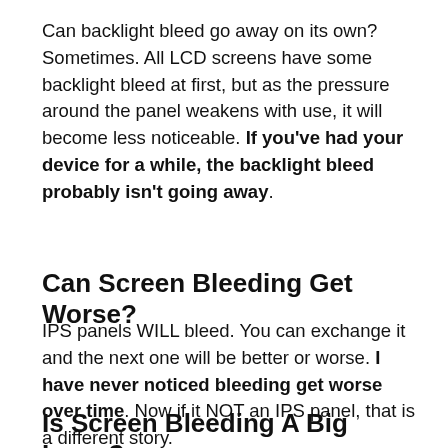Can backlight bleed go away on its own? Sometimes. All LCD screens have some backlight bleed at first, but as the pressure around the panel weakens with use, it will become less noticeable. If you've had your device for a while, the backlight bleed probably isn't going away.
Can Screen Bleeding Get Worse?
IPS panels WILL bleed. You can exchange it and the next one will be better or worse. I have never noticed bleeding get worse over time. Now if it NOT an IPS panel, that is a different story.
Is Screen Bleeding A Big Issue?